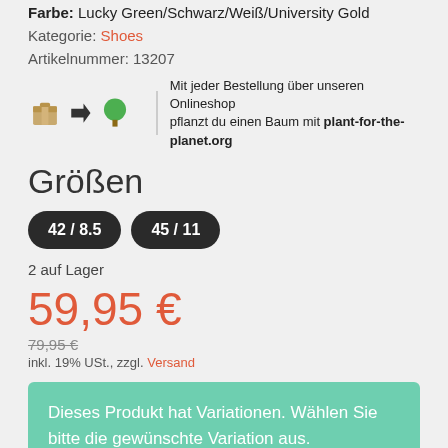Farbe: Lucky Green/Schwarz/Weiß/University Gold
Kategorie: Shoes
Artikelnummer: 13207
[Figure (infographic): Package icon with arrow pointing to tree icon, with text: Mit jeder Bestellung über unseren Onlineshop pflanzt du einen Baum mit plant-for-the-planet.org]
Größen
42 / 8.5
45 / 11
2 auf Lager
59,95 €
79,95 €
inkl. 19% USt., zzgl. Versand
Dieses Produkt hat Variationen. Wählen Sie bitte die gewünschte Variation aus.